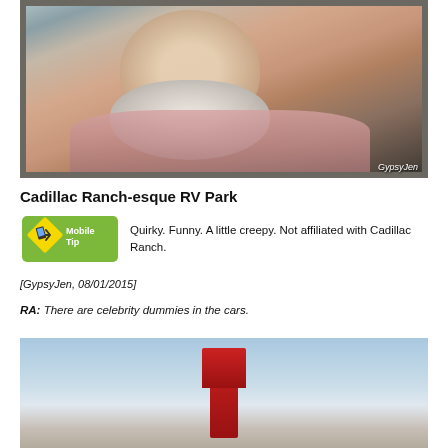[Figure (photo): Close-up photo of an elderly man with white beard inside a vehicle, watermarked 'GypsyJen' in bottom right corner.]
Cadillac Ranch-esque RV Park
[Figure (logo): Mobile Tip badge - green diamond-shaped road sign icon with 'Mobile Tip' text]
Quirky. Funny. A little creepy. Not affiliated with Cadillac Ranch.
[GypsyJen, 08/01/2015]
RA: There are celebrity dummies in the cars.
[Figure (photo): Partially visible photo of an RV park sign against a blue sky, showing a large red sign.]